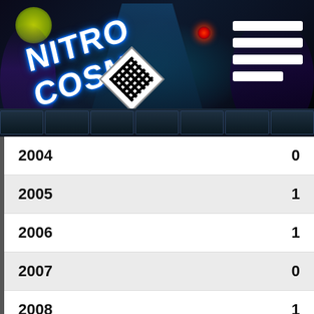[Figure (illustration): NITROCOSM app header banner with illustrated DJ characters, QR code diamond, yellow-green glow, red dot, hamburger menu bars on dark background]
| Year | Count |
| --- | --- |
| 2004 | 0 |
| 2005 | 1 |
| 2006 | 1 |
| 2007 | 0 |
| 2008 | 1 |
| 2009 | 0 |